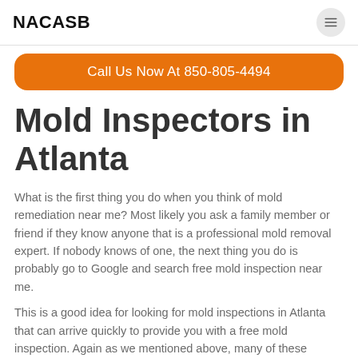NACASB
Call Us Now At 850-805-4494
Mold Inspectors in Atlanta
What is the first thing you do when you think of mold remediation near me? Most likely you ask a family member or friend if they know anyone that is a professional mold removal expert. If nobody knows of one, the next thing you do is probably go to Google and search free mold inspection near me.
This is a good idea for looking for mold inspections in Atlanta that can arrive quickly to provide you with a free mold inspection. Again as we mentioned above, many of these professional mold removal companies don't arrive same day as you call. You will need to make a reservation